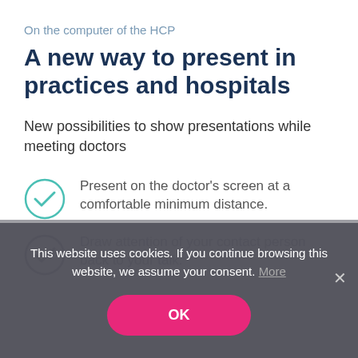On the computer of the HCP
A new way to present in practices and hospitals
New possibilities to show presentations while meeting doctors
Present on the doctor's screen at a comfortable minimum distance.
Draw attention of your contact person back to your talk.
This website uses cookies. If you continue browsing this website, we assume your consent. More
OK